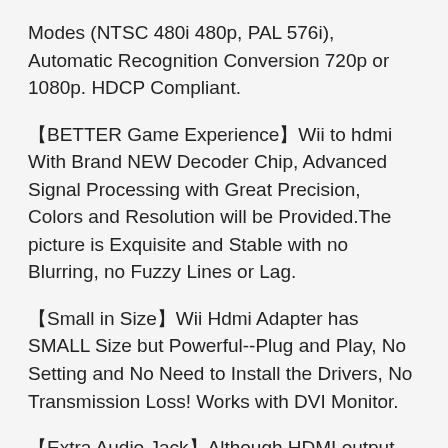Modes (NTSC 480i 480p, PAL 576i), Automatic Recognition Conversion 720p or 1080p. HDCP Compliant.
【BETTER Game Experience】Wii to hdmi With Brand NEW Decoder Chip, Advanced Signal Processing with Great Precision, Colors and Resolution will be Provided.The picture is Exquisite and Stable with no Blurring, no Fuzzy Lines or Lag.
【Small in Size】Wii Hdmi Adapter has SMALL Size but Powerful--Plug and Play, No Setting and No Need to Install the Drivers, No Transmission Loss! Works with DVI Monitor.
【Extra Audio Jack】Although HDMI output provides audio output, an extra 3.5mm audio jack allows you to connect a speaker or headphone. Even the night owls can enjoy playing in the midnight and no need to worry about disturbing others.
【Plug and Play】Super easy to operate. No setting